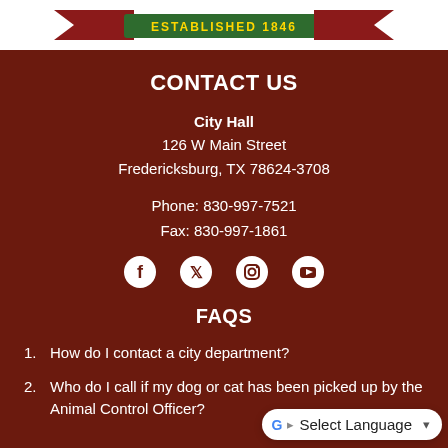[Figure (logo): Partial city logo with 'ESTABLISHED 1846' green banner and red ribbon elements]
CONTACT US
City Hall
126 W Main Street
Fredericksburg, TX 78624-3708
Phone: 830-997-7521
Fax: 830-997-1861
[Figure (infographic): Social media icons: Facebook, Twitter, Instagram, YouTube]
FAQS
How do I contact a city department?
Who do I call if my dog or cat has been picked up by the Animal Control Officer?